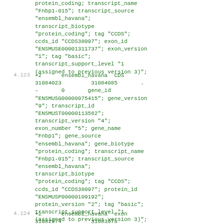protein_coding; transcript_name "Fnbp1-015"; transcript_source "ensembl_havana"; transcript_biotype "protein_coding"; tag "CCDS"; ccds_id "CCDS38097"; exon_id "ENSMUSE00001311737"; exon_version "1"; tag "basic"; transcript_support_level "1 (assigned to previous version 3)";
4.123  +2      ensembl_havana  CDS 31084023         31084085       . -       0       gene_id "ENSMUSG00000075415"; gene_version "9"; transcript_id "ENSMUST00000113562"; transcript_version "4"; exon_number "5"; gene_name "Fnbp1"; gene_source "ensembl_havana"; gene_biotype "protein_coding"; transcript_name "Fnbp1-015"; transcript_source "ensembl_havana"; transcript_biotype "protein_coding"; tag "CCDS"; ccds_id "CCDS38097"; protein_id "ENSMUSP00000109192"; protein_version "2"; tag "basic"; transcript_support_level "1 (assigned to previous version 3)";
4.124  +2      ensembl_havana  exon 31082974         31083078       . gene_id